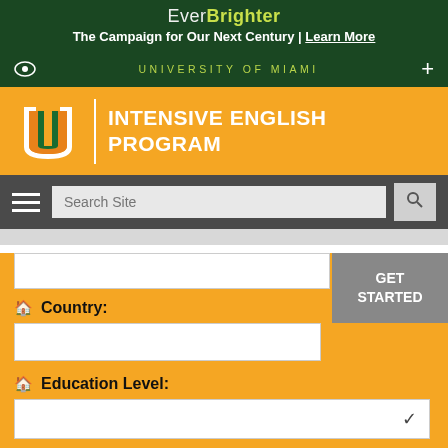Ever Brighter – The Campaign for Our Next Century | Learn More
UNIVERSITY OF MIAMI
[Figure (logo): University of Miami Intensive English Program logo with U mark and orange background]
Country:
Education Level:
Privacy Policy
By checking this box, I consent to be contacted by or on behalf of the University of Miami, including by email, calls, chat, and text messages to any